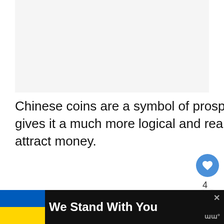[Figure (photo): Light gray placeholder image area at the top of the page]
Chinese coins are a symbol of prosperity and wealth. As always, Eastern culture gives it a much more logical and realistic meaning than that of a simple amulet to attract money.
Chinese culture is one of the wisest cultures. For these wise, luck, money, health and well-being in general, is sought. It is not ab... ...ke us
[Figure (screenshot): WHAT'S NEXT arrow badge showing Feng Shui Chinese Coi... thumbnail]
[Figure (infographic): We Stand With You banner with Ukrainian flag blue and yellow colors at bottom of page]